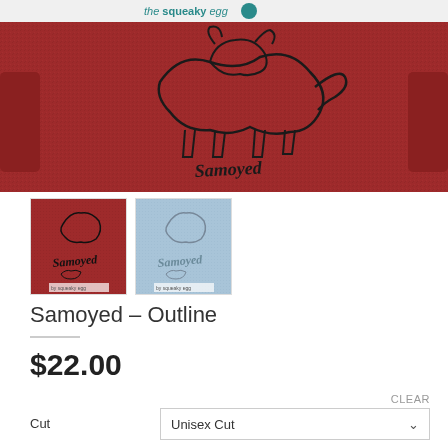the squeaky egg
[Figure (photo): Main product photo showing a dark red/maroon sweatshirt with a Samoyed dog outline design and script text. The squeaky egg watermark logo visible in bottom right corner.]
[Figure (photo): Thumbnail 1: dark red/maroon shirt with Samoyed outline and script text design]
[Figure (photo): Thumbnail 2: light blue shirt with Samoyed outline and script text design]
Samoyed – Outline
$22.00
CLEAR
Cut
Unisex Cut